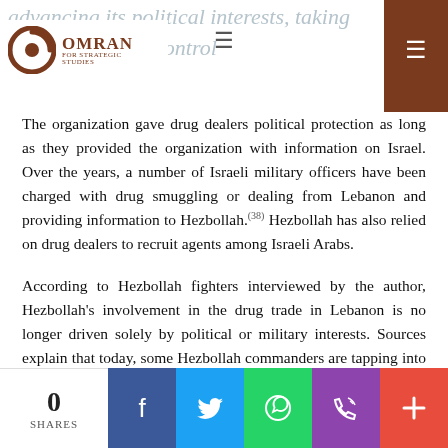OMRAN FOR STRATEGIC STUDIES
The organization gave drug dealers political protection as long as they provided the organization with information on Israel. Over the years, a number of Israeli military officers have been charged with drug smuggling or dealing from Lebanon and providing information to Hezbollah.[38] Hezbollah has also relied on drug dealers to recruit agents among Israeli Arabs.
According to Hezbollah fighters interviewed by the author, Hezbollah’s involvement in the drug trade in Lebanon is no longer driven solely by political or military interests. Sources explain that today, some Hezbollah commanders are tapping into the lucrative drug market for their own personal benefit. This has happened as the organization’s clout has grown in recent years, with its consolidation of power in Lebanon in 2006, and its entry into the Syrian war in 2011. The author could not confirm or invalidate these allegations.
“Hezbollah turns a blind eye to the drug plantations around its training camps, and drug dealers provides it with significant contributions from their proceeds,” said a source close to the
0 SHARES | Facebook | Twitter | WhatsApp | Phone | +